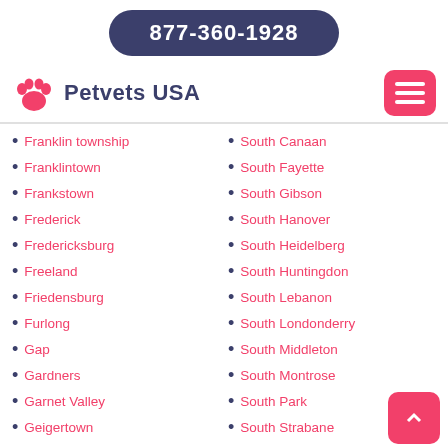877-360-1928
Petvets USA
Franklin township
Franklintown
Frankstown
Frederick
Fredericksburg
Freeland
Friedensburg
Furlong
Gap
Gardners
Garnet Valley
Geigertown
Georges
South Canaan
South Fayette
South Gibson
South Hanover
South Heidelberg
South Huntingdon
South Lebanon
South Londonderry
South Middleton
South Montrose
South Park
South Strabane
South Union